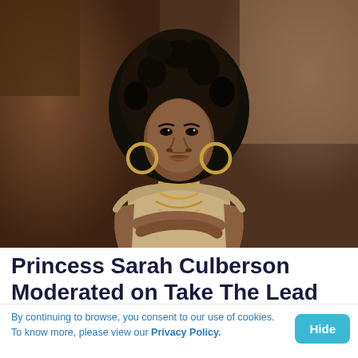[Figure (photo): Portrait photo of Princess Sarah Culberson, a Black woman with large natural curly afro hair, wearing hoop earrings and a gold-embellished off-shoulder outfit, arms crossed, standing in front of a rustic metallic brown background.]
Princess Sarah Culberson Moderated on Take The Lead
MARCH 20, 2022
By continuing to browse, you consent to our use of cookies. To know more, please view our Privacy Policy.